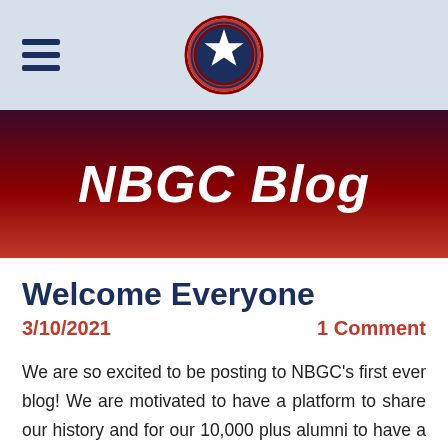NBGC Blog — header with logo and hamburger menu
NBGC Blog
Welcome Everyone
3/10/2021    1 Comment
We are so excited to be posting to NBGC's first ever blog! We are motivated to have a platform to share our history and for our 10,000 plus alumni to have a way to connect with one another.